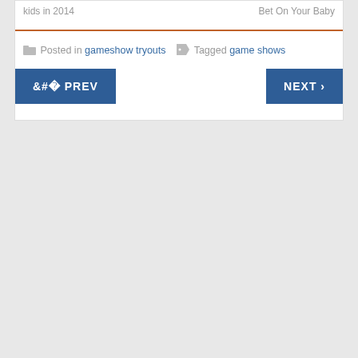kids in 2014    Bet On Your Baby
Posted in gameshow tryouts  Tagged game shows
< PREV   NEXT >